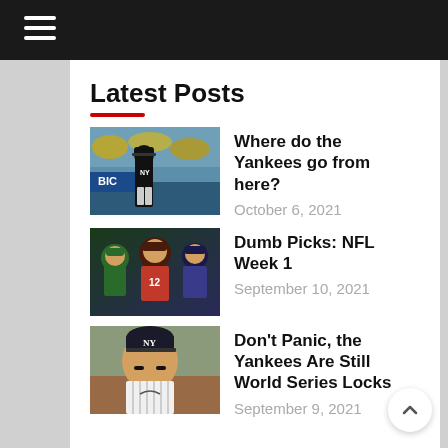Navigation header with hamburger menu
Latest Posts
[Figure (photo): Baseball player in New York Yankees black uniform walking on field]
Where do the Yankees go from here?
October 6, 2021
[Figure (photo): NFL football players collage with helmets and uniforms]
Dumb Picks: NFL Week 1
September 10, 2021
[Figure (photo): New York Yankees player in pinstripes with eye black]
Don't Panic, the Yankees Are Still World Series Locks
September 9, 2021